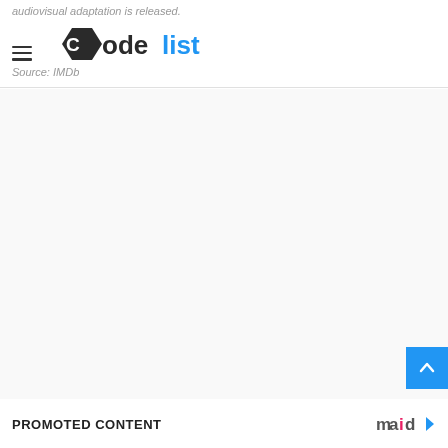audiovisual adaptation is released. Source: IMDb | CodeList logo
[Figure (logo): CodeList website logo — hexagonal 'C' icon in dark grey with 'ode' in dark and 'list' in blue lettering]
Source: IMDb
[Figure (other): Advertisement / blank white content area]
PROMOTED CONTENT | maid logo